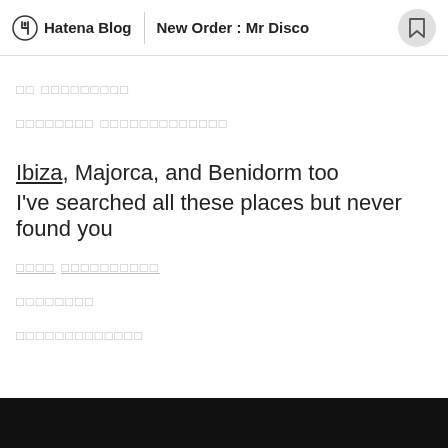Hatena Blog | New Order : Mr Disco
□□ □□□□□□□□□
□□□□□□□□ □□□□□□□□□□□□□
Ibiza, Majorca, and Benidorm too
I've searched all these places but never found you
□□□□ □□□□□□□□□□
□□□□□□□□
□□□□□□□□□□□□□